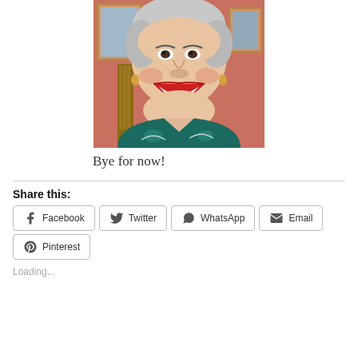[Figure (photo): Elderly woman with gray hair, laughing broadly with red lipstick, wearing a teal/green patterned top, sitting in front of a warm pink/red wall with framed pictures]
Bye for now!
Share this:
Facebook
Twitter
WhatsApp
Email
Pinterest
Loading...